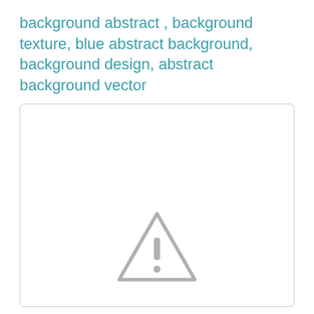background abstract , background texture, blue abstract background, background design, abstract background vector
[Figure (illustration): A large white rectangle with a rounded border containing a gray warning triangle icon with an exclamation mark, centered in the lower portion of the box — indicating a missing or broken image placeholder.]